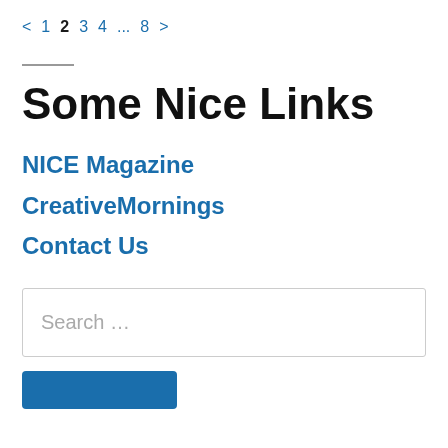< 1 2 3 4 ... 8 >
Some Nice Links
NICE Magazine
CreativeMornings
Contact Us
Search …